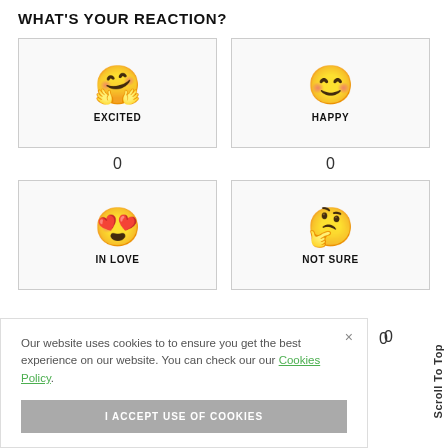WHAT'S YOUR REACTION?
[Figure (infographic): Four emoji reaction boxes: EXCITED (hugging face emoji), HAPPY (blushing smiley emoji), IN LOVE (smiling face with hearts emoji), NOT SURE (thinking face emoji), each with a count of 0]
Our website uses cookies to to ensure you get the best experience on our website. You can check our our Cookies Policy.
I ACCEPT USE OF COOKIES